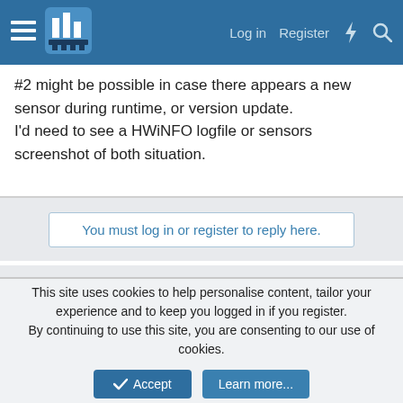Log in  Register
#2 might be possible in case there appears a new sensor during runtime, or version update.
I'd need to see a HWiNFO logfile or sensors screenshot of both situation.
You must log in or register to reply here.
Share:
HWiNFOMonitor
Contact us   Terms and rules   Privacy policy   Help   Home
Community platform by XenForo® © 2010-2022 XenForo Ltd.
This site uses cookies to help personalise content, tailor your experience and to keep you logged in if you register.
By continuing to use this site, you are consenting to our use of cookies.
Accept   Learn more...